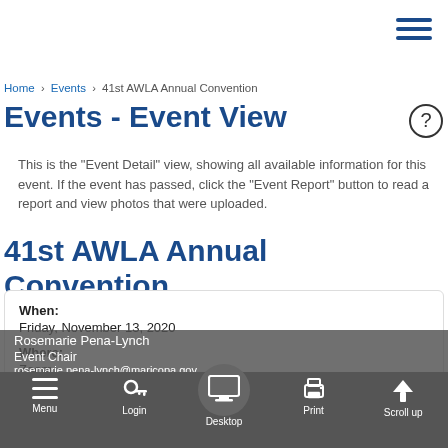[Figure (other): Hamburger menu icon (three horizontal lines) in dark blue, top right corner]
Home › Events › 41st AWLA Annual Convention
Events - Event View
This is the "Event Detail" view, showing all available information for this event. If the event has passed, click the "Event Report" button to read a report and view photos that were uploaded.
41st AWLA Annual Convention
When:
Friday, November 13, 2020
Where:
Zoom
Phoenix, AZ

Event Contact(s):
Rosemarie Pena-Lynch
Event Chair
rosemarie.pena-lynch@maricopa.gov
Menu  Login  Desktop  Print  Scroll up